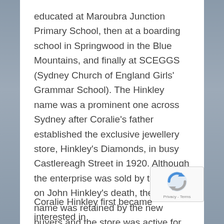educated at Maroubra Junction Primary School, then at a boarding school in Springwood in the Blue Mountains, and finally at SCEGGS (Sydney Church of England Girls' Grammar School). The Hinkley name was a prominent one across Sydney after Coralie's father established the exclusive jewellery store, Hinkley's Diamonds, in busy Castlereagh Street in 1920. Although the enterprise was sold by the family on John Hinkley's death, the Hinkley name was retained by the new buyers and the store was active for close to 100 years.
[Figure (logo): reCAPTCHA badge with spinning arrow logo and Privacy - Terms text]
Coralie Hinkley first became interested in